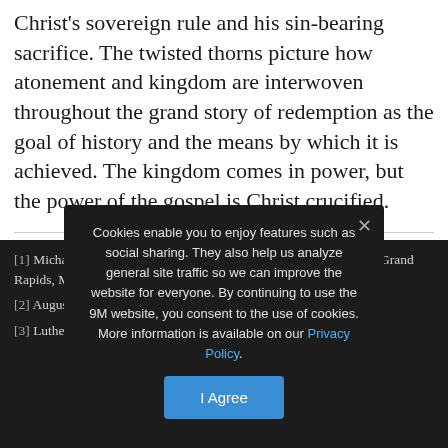Christ's sovereign rule and his sin-bearing sacrifice. The twisted thorns picture how atonement and kingdom are interwoven throughout the grand story of redemption as the goal of history and the means by which it is achieved. The kingdom comes in power, but the power of the gospel is Christ crucified.
[1] Michael Holmes, ed. and trans., The Apostolic Fathers, 3rd ed. (Grand Rapids, MI: Baker Academic, ...
[2] Augustine, Expositions on the Psalms, n. 95 (406–407); WSA 18:425.
[3] Luther, Psalm 110 (1539); LW 13:344.
Cookies enable you to enjoy features such as social sharing. They also help us analyze general site traffic so we can improve the website for everyone. By continuing to use the 9M website, you consent to the use of cookies. More information is available on our Privacy Policy.